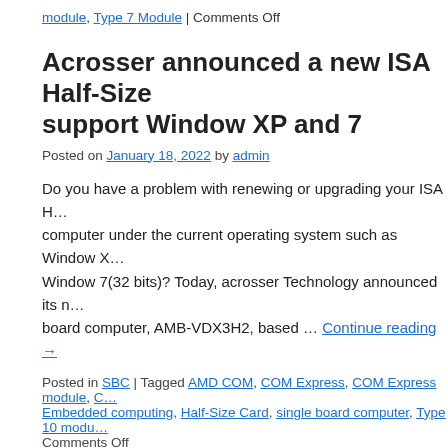module, Type 7 Module | Comments Off
Acrosser announced a new ISA Half-Size … support Window XP and 7
Posted on January 18, 2022 by admin
Do you have a problem with renewing or upgrading your ISA H… computer under the current operating system such as Window X… Window 7(32 bits)? Today, acrosser Technology announced its n… board computer, AMB-VDX3H2, based … Continue reading →
Posted in SBC | Tagged AMD COM, COM Express, COM Express module, C… Embedded computing, Half-Size Card, single board computer, Type 10 modu… Comments Off
Acrosser announced a new ISA Half-Size … support Window XP and 7
Posted on December 21, 2021 by admin